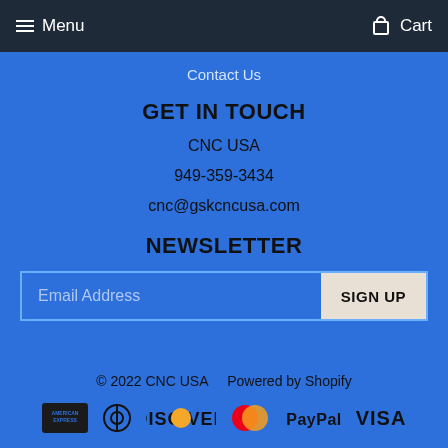Menu  Cart
Contact Us
GET IN TOUCH
CNC USA
949-359-3434
cnc@gskcncusa.com
NEWSLETTER
Email Address  SIGN UP
© 2022 CNC USA   Powered by Shopify
[Figure (other): Payment method icons: American Express, Diners Club, Discover, Mastercard, PayPal, Visa]